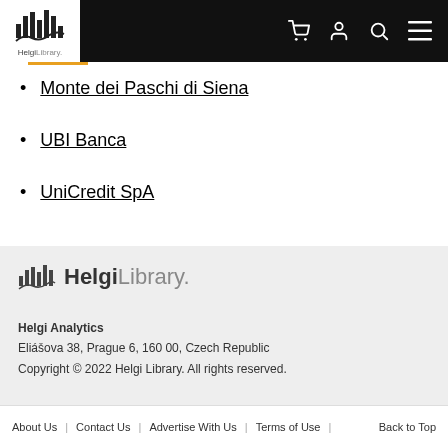HelgiLibrary navigation header with logo and icons
Monte dei Paschi di Siena
UBI Banca
UniCredit SpA
[Figure (logo): HelgiLibrary logo with bar chart icon and text in footer]
Helgi Analytics
Eliášova 38, Prague 6, 160 00, Czech Republic
Copyright © 2022 Helgi Library. All rights reserved.
About Us | Contact Us | Advertise With Us | Terms of Use | Back to Top